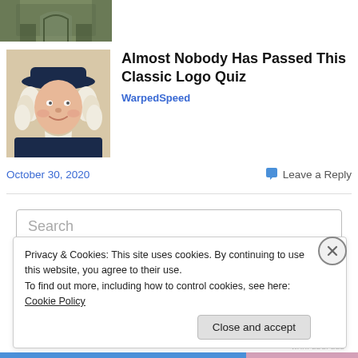[Figure (photo): Partial photo of a stone building with an archway entrance, cropped at top left]
[Figure (illustration): Illustrated portrait of a colonial-era figure wearing a wide-brimmed hat and white cravat]
Almost Nobody Has Passed This Classic Logo Quiz
WarpedSpeed
October 30, 2020
Leave a Reply
Search
Privacy & Cookies: This site uses cookies. By continuing to use this website, you agree to their use.
To find out more, including how to control cookies, see here: Cookie Policy
Close and accept